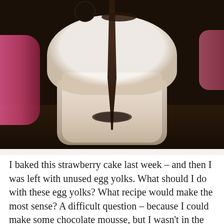[Figure (photo): Close-up photo of a glass jar filled with what appears to be strawberry mousse or ice cream topped with whipped cream and chocolate sauce drizzled over it, with an Oreo cookie on top. A pink cloth is visible on the left side. The jar sits on a dark surface.]
I baked this strawberry cake last week – and then I was left with unused egg yolks. What should I do with these egg yolks? What recipe would make the most sense? A difficult question – because I could make some chocolate mousse, but I wasn't in the mood for chocolate. I decided...